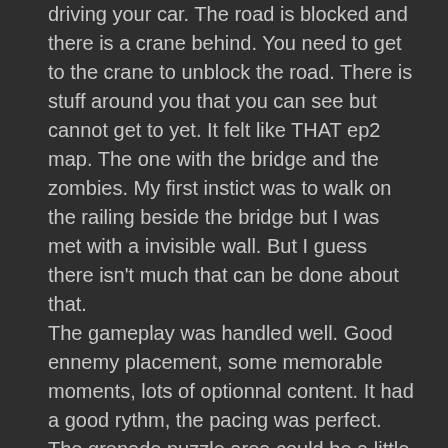driving your car. The road is blocked and there is a crane behind. You need to get to the crane to unblock the road. There is stuff around you that you can see but cannot get to yet. It felt like THAT ep2 map. The one with the bridge and the zombies. My first instict was to walk on the railing beside the bridge but I was met with a invisible wall. But I guess there isn't much that can be done about that.
The gameplay was handled well. Good ennemy placement, some memorable moments, lots of optionnal content. It had a good rythm, the pacing was perfect. The grenade puzzle area could be a little more easier to walk through. The first time I played through I picked the grenades, went back to see the way blocked, then went back to the grenade crate and threw the grenade, and went back AGAIN to go through the elevator. It was a bit tiresome. The elevator